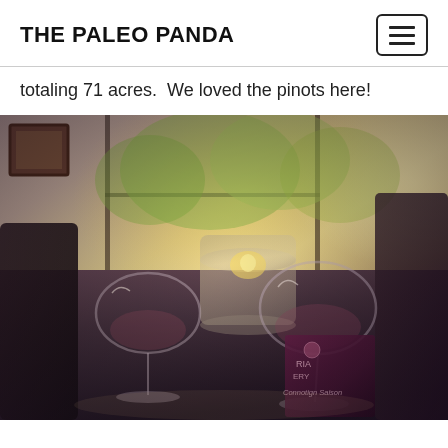THE PALEO PANDA
totaling 71 acres.  We loved the pinots here!
[Figure (photo): Indoor winery tasting room photo showing two large wine glasses on a dark wooden table, with an ice bucket or carafe in the center, a wine label/brochure at lower right, a dark chair on the left, dark furniture on the right, a large bright window overlooking green trees in the background, and a small picture frame on the upper left wall. The image has a warm golden tone from the sunlit window.]